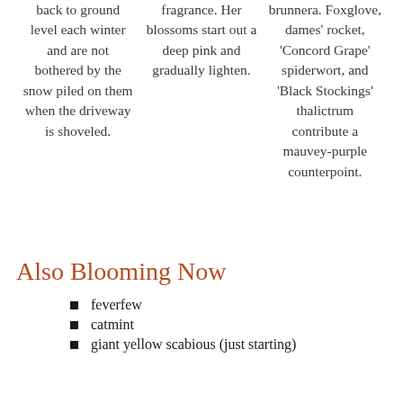back to ground level each winter and are not bothered by the snow piled on them when the driveway is shoveled.
fragrance. Her blossoms start out a deep pink and gradually lighten.
brunnera. Foxglove, dames' rocket, 'Concord Grape' spiderwort, and 'Black Stockings' thalictrum contribute a mauvey-purple counterpoint.
Also Blooming Now
feverfew
catmint
giant yellow scabious (just starting)